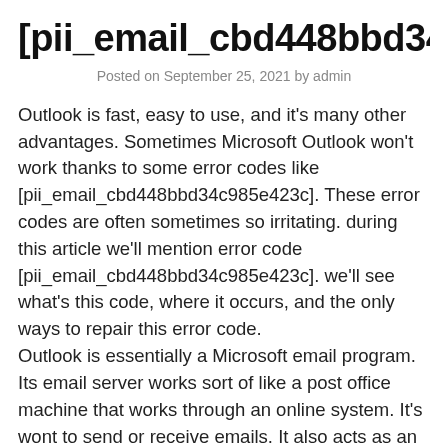[pii_email_cbd448bbd34c985e
Posted on September 25, 2021 by admin
Outlook is fast, easy to use, and it's many other advantages. Sometimes Microsoft Outlook won't work thanks to some error codes like [pii_email_cbd448bbd34c985e423c]. These error codes are often sometimes so irritating. during this article we'll mention error code [pii_email_cbd448bbd34c985e423c]. we'll see what's this code, where it occurs, and the only ways to repair this error code.
Outlook is essentially a Microsoft email program. Its email server works sort of like a post office machine that works through an online system. It's wont to send or receive emails. It also acts as an online service provider. As emails are now becoming a basic need of